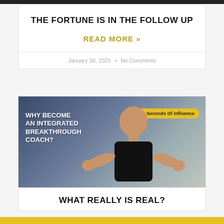THE FORTUNE IS IN THE FOLLOW UP
READ MORE »
January 30, 2020 • No Comments
[Figure (photo): Video thumbnail showing a man with text 'WHY BECOME AN INTEGRATED BREAKTHROUGH COACH?' and a badge reading '60 Seconds Of Influence']
WHAT REALLY IS REAL?